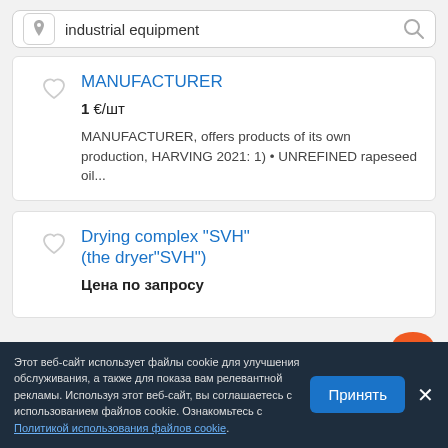[Figure (screenshot): Search bar with location pin icon on left, text 'industrial equipment', and search magnifier icon on right]
MANUFACTURER
1 €/шт
MANUFACTURER, offers products of its own production, HARVING 2021: 1) • UNREFINED rapeseed oil...
Drying complex "SVH" (the dryer"SVH")
Цена по запросу
Этот веб-сайт использует файлы cookie для улучшения обслуживания, а также для показа вам релевантной рекламы. Используя этот веб-сайт, вы соглашаетесь с использованием файлов cookie. Ознакомьтесь с Политикой использования файлов cookie.